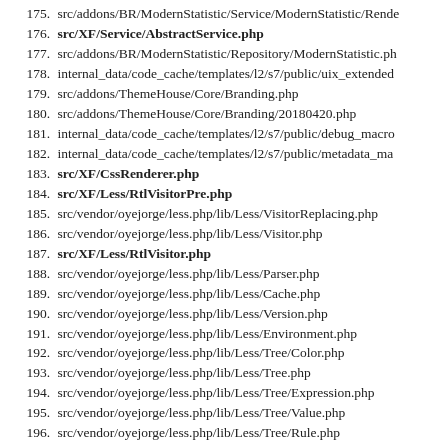175. src/addons/BR/ModernStatistic/Service/ModernStatistic/Rende
176. src/XF/Service/AbstractService.php
177. src/addons/BR/ModernStatistic/Repository/ModernStatistic.ph
178. internal_data/code_cache/templates/l2/s7/public/uix_extended
179. src/addons/ThemeHouse/Core/Branding.php
180. src/addons/ThemeHouse/Core/Branding/20180420.php
181. internal_data/code_cache/templates/l2/s7/public/debug_macro
182. internal_data/code_cache/templates/l2/s7/public/metadata_ma
183. src/XF/CssRenderer.php
184. src/XF/Less/RtlVisitorPre.php
185. src/vendor/oyejorge/less.php/lib/Less/VisitorReplacing.php
186. src/vendor/oyejorge/less.php/lib/Less/Visitor.php
187. src/XF/Less/RtlVisitor.php
188. src/vendor/oyejorge/less.php/lib/Less/Parser.php
189. src/vendor/oyejorge/less.php/lib/Less/Cache.php
190. src/vendor/oyejorge/less.php/lib/Less/Version.php
191. src/vendor/oyejorge/less.php/lib/Less/Environment.php
192. src/vendor/oyejorge/less.php/lib/Less/Tree/Color.php
193. src/vendor/oyejorge/less.php/lib/Less/Tree.php
194. src/vendor/oyejorge/less.php/lib/Less/Tree/Expression.php
195. src/vendor/oyejorge/less.php/lib/Less/Tree/Value.php
196. src/vendor/oyejorge/less.php/lib/Less/Tree/Rule.php
197. src/vendor/oyejorge/less.php/lib/Less/Tree/Element.php
198. src/vendor/oyejorge/less.php/lib/Less/Tree/Selector.php
199. src/vendor/oyejorge/less.php/lib/Less/Tree/Keyword.php